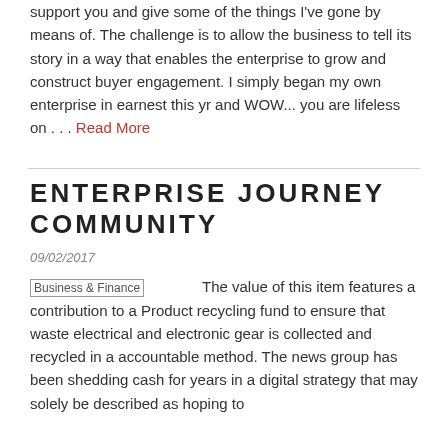support you and give some of the things I've gone by means of. The challenge is to allow the business to tell its story in a way that enables the enterprise to grow and construct buyer engagement. I simply began my own enterprise in earnest this yr and WOW... you are lifeless on . . . Read More
ENTERPRISE JOURNEY COMMUNITY
09/02/2017
The value of this item features a contribution to a Product recycling fund to ensure that waste electrical and electronic gear is collected and recycled in a accountable method. The news group has been shedding cash for years in a digital strategy that may solely be described as hoping to